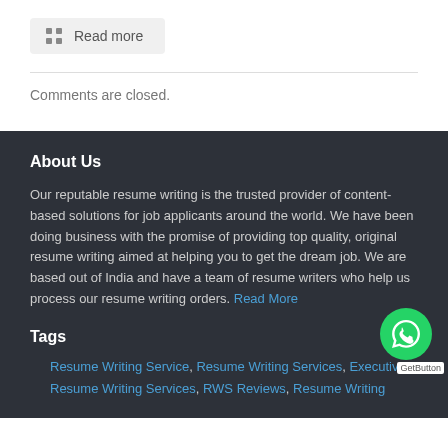Read more
Comments are closed.
About Us
Our reputable resume writing is the trusted provider of content-based solutions for job applicants around the world. We have been doing business with the promise of providing top quality, original resume writing aimed at helping you to get the dream job. We are based out of India and have a team of resume writers who help us process our resume writing orders. Read More
Tags
Resume Writing Service, Resume Writing Services, Executive Resume Writing Services, RWS Reviews, Resume Writing ...